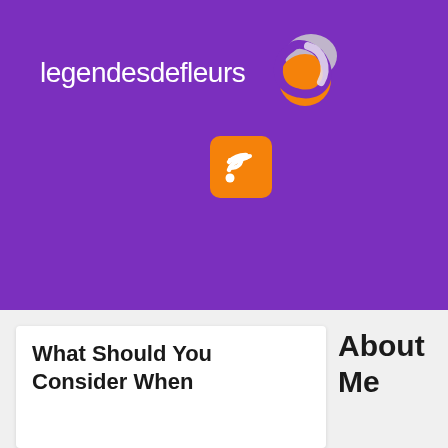[Figure (logo): legendesdefleurs website logo with text and swirling orange, purple, and grey circle icon]
[Figure (other): Orange rounded square RSS feed icon]
What Should You Consider When
About Me